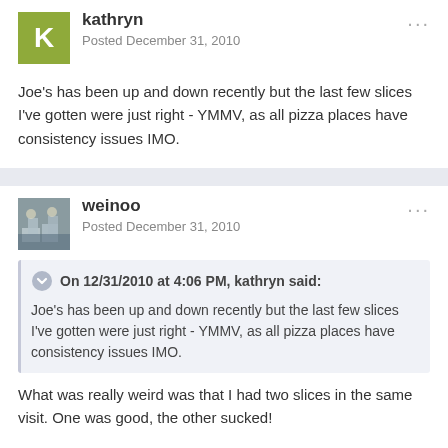kathryn — Posted December 31, 2010
Joe's has been up and down recently but the last few slices I've gotten were just right - YMMV, as all pizza places have consistency issues IMO.
weinoo — Posted December 31, 2010
On 12/31/2010 at 4:06 PM, kathryn said: Joe's has been up and down recently but the last few slices I've gotten were just right - YMMV, as all pizza places have consistency issues IMO.
What was really weird was that I had two slices in the same visit. One was good, the other sucked!